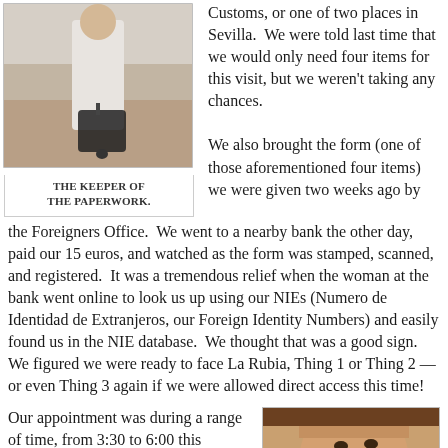[Figure (photo): Person standing with rolling luggage/briefcase outdoors on tiled patio]
THE KEEPER OF THE PAPERWORK.
Customs, or one of two places in Sevilla.  We were told last time that we would only need four items for this visit, but we weren't taking any chances.
We also brought the form (one of those aforementioned four items) we were given two weeks ago by the Foreigners Office.  We went to a nearby bank the other day, paid our 15 euros, and watched as the form was stamped, scanned, and registered.  It was a tremendous relief when the woman at the bank went online to look us up using our NIEs (Numero de Identidad de Extranjeros, our Foreign Identity Numbers) and easily found us in the NIE database.  We thought that was a good sign.  We figured we were ready to face La Rubia, Thing 1 or Thing 2 — or even Thing 3 again if we were allowed direct access this time!
Our appointment was during a range of time, from 3:30 to 6:00 this afternoon.  So, we taxied over and got in line at
[Figure (photo): Close-up photo of a person's face, partially visible]